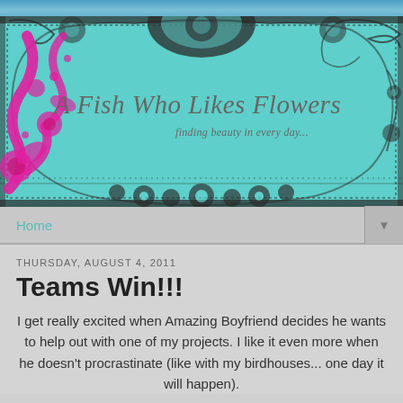[Figure (illustration): Blog header banner with teal/mint colored ornate lace damask pattern background, a pink/magenta decorative floral scroll on the left side, and the blog title 'A Fish Who Likes Flowers' in cursive italic script with subtitle 'finding beauty in every day...']
Home
THURSDAY, AUGUST 4, 2011
Teams Win!!!
I get really excited when Amazing Boyfriend decides he wants to help out with one of my projects. I like it even more when he doesn't procrastinate (like with my birdhouses... one day it will happen).